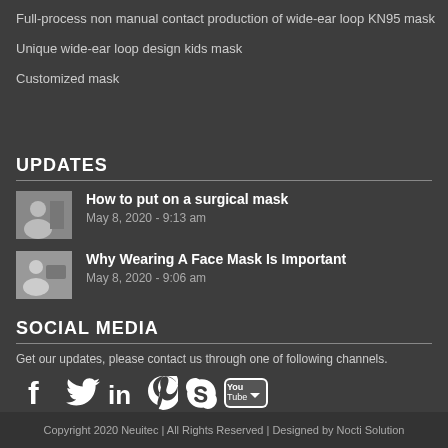Full-process non manual contact production of wide-ear loop KN95 mask
Unique wide-ear loop design kids mask
Customized mask
UPDATES
How to put on a surgical mask
May 8, 2020 - 9:13 am
Why Wearing A Face Mask Is Important
May 8, 2020 - 9:06 am
SOCIAL MEDIA
Get our updates, please contact us through one of following channels.
[Figure (illustration): Social media icons: Facebook, Twitter, LinkedIn, Pinterest, Skype, YouTube]
Copyright 2020 Neuitec | All Rights Reserved | Designed by Nocti Solution